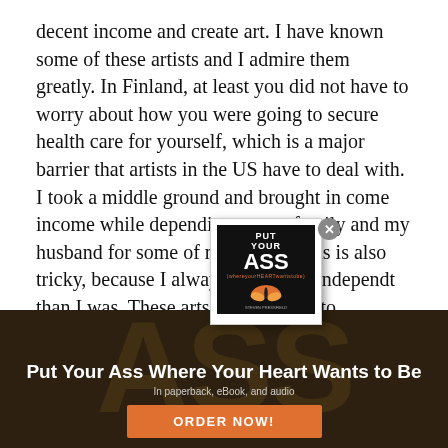decent income and create art. I have known some of these artists and I admire them greatly. In Finland, at least you did not have to worry about how you were going to secure health care for yourself, which is a major barrier that artists in the US have to deal with. I took a middle ground and brought in come income while depending on my family and my husband for some of my support. This is also tricky, because I always wanted to be more independent than I was. These are challenges for all artists to
[Figure (other): Popup overlay showing book cover for 'Put Your Ass Where Your Heart Wants to Be' with a close (X) button]
[Figure (photo): Dark banner background with large faded text reading 'ASS (whereyourheartwantstobe)' and butterfly imagery]
Put Your Ass Where Your Heart Wants to Be
In paperback, eBook, and audio
ORDER NOW!